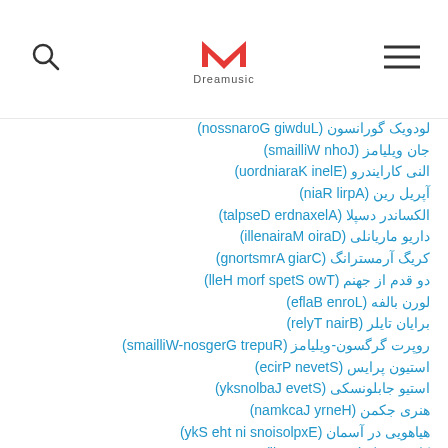Dreamusic
لودویک گورانسون (Ludwig Goransson)
جان ویلیامز (John Williams)
النی کارایندرو (Eleni Karaindrou)
آپریل رین (April Rain)
الکساندر دسپلا (Alexandre Desplat)
داریو ماریانلی (Dario Marianelli)
کریگ آرمسترانگ (Craig Armstrong)
دو قدم از جهنم (Two Steps from Hell)
لورن بالفه (Lorne Balfe)
برایان تایلر (Brian Tyler)
روپرت گرگسون-ویلیامز (Rupert Gregson-Williams)
استیون پرایس (Steven Price)
استیو جابلونسکی (Steve Jablonsky)
هنری جکمن (Henry Jackman)
هیاهویی در آسمان (Explosions in the Sky)
کارتر برول (Carter Burwell)
مارتین فیپس (Martin Phipps)